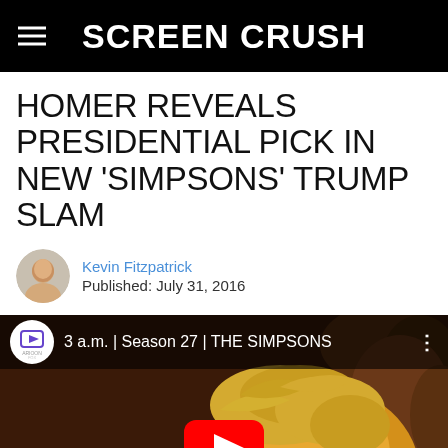SCREEN CRUSH
HOMER REVEALS PRESIDENTIAL PICK IN NEW 'SIMPSONS' TRUMP SLAM
Kevin Fitzpatrick
Published: July 31, 2016
[Figure (screenshot): YouTube video thumbnail showing animated cartoon character resembling Trump from The Simpsons, with video title '3 a.m. | Season 27 | THE SIMPSONS' and a YouTube play button overlay]